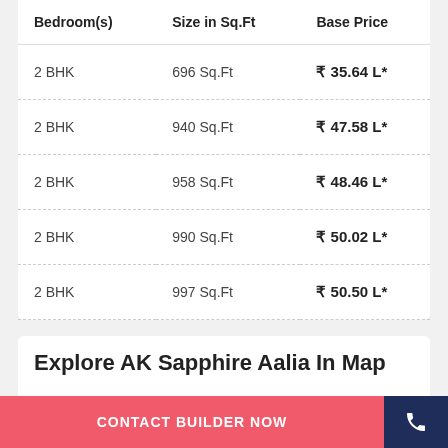| Bedroom(s) | Size in Sq.Ft | Base Price |
| --- | --- | --- |
| 2 BHK | 696 Sq.Ft | ₹ 35.64 L* |
| 2 BHK | 940 Sq.Ft | ₹ 47.58 L* |
| 2 BHK | 958 Sq.Ft | ₹ 48.46 L* |
| 2 BHK | 990 Sq.Ft | ₹ 50.02 L* |
| 2 BHK | 997 Sq.Ft | ₹ 50.50 L* |
Explore AK Sapphire Aalia In Map
CONTACT BUILDER NOW